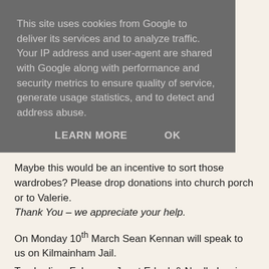This site uses cookies from Google to deliver its services and to analyze traffic. Your IP address and user-agent are shared with Google along with performance and security metrics to ensure quality of service, generate usage statistics, and to detect and address abuse.
LEARN MORE   OK
Maybe this would be an incentive to sort those wardrobes? Please drop donations into church porch or to Valerie. Thank You – we appreciate your help.
On Monday 10th March Sean Kennan will speak to us on Kilmainham Jail.
Tea Ladies: February: Janet Edgely& Noelle Lewis
Tea Ladies: March: Regina Donoghue & Carol Laughlin
THE BOY'S BRIGADE
Happy New Year everybody. We have resumed after the Christmas break, with planning starting for our annual display in April. Please note the new finishing time for company section will be 10.00 pm on Friday nights.